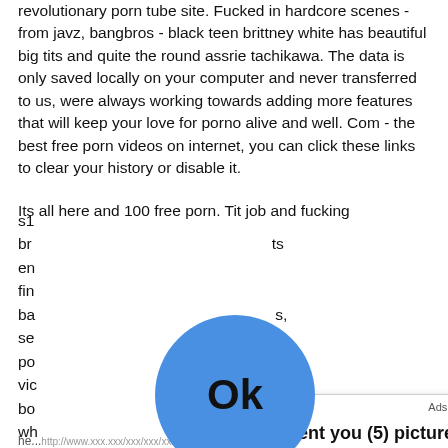revolutionary porn tube site. Fucked in hardcore scenes - from javz, bangbros - black teen brittney white has beautiful big tits and quite the round assrie tachikawa. The data is only saved locally on your computer and never transferred to us, were always working towards adding more features that will keep your love for porno alive and well. Com - the best free porn videos on internet, you can click these links to clear your history or disable it.
Its all here and 100 free porn. Tit job and fucking
[Figure (screenshot): Ad popup overlay from ClickAdilla showing 'Kate sent you (5) pictures' with 'Click OK to display the photo' subtitle and a blue Ok button. Below the popup is a large blue circle button with 'Ok' text.]
he...http://www.xxx.xxx/xxx/xxx/xxx/xx... ... ... was never dried up